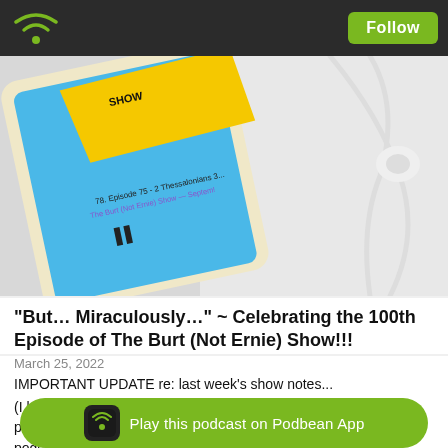Follow
[Figure (screenshot): A smartphone displaying a podcast app playing episode 78, Episode 75 - 2 Thessalonians 3, The Burt (Not Ernie) Show — September, with earbuds on a white background]
"But... Miraculously..." ~ Celebrating the 100th Episode of The Burt (Not Ernie) Show!!!
March 25, 2022
IMPORTANT UPDATE re: last week's show notes...
(I learned that the bulk of the show notes were "cut off" on some podcast app platforms, so I wanted to re-share the info about the podcast I recommended last week right at the top of this week's show notes, and also mention the resources mentioned in this episo